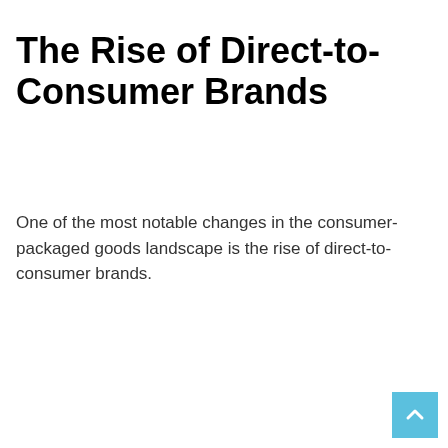The Rise of Direct-to-Consumer Brands
One of the most notable changes in the consumer-packaged goods landscape is the rise of direct-to-consumer brands.